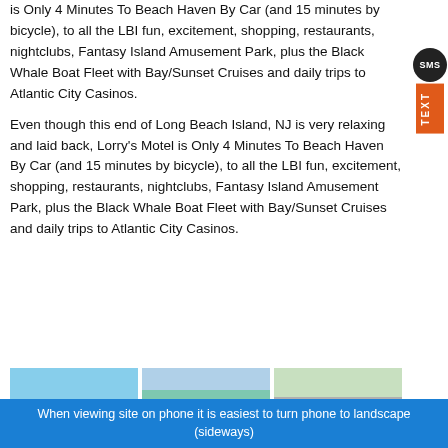is Only 4 Minutes To Beach Haven By Car (and 15 minutes by bicycle), to all the LBI fun, excitement, shopping, restaurants, nightclubs, Fantasy Island Amusement Park, plus the Black Whale Boat Fleet with Bay/Sunset Cruises and daily trips to Atlantic City Casinos.
Even though this end of Long Beach Island, NJ is very relaxing and laid back, Lorry's Motel is Only 4 Minutes To Beach Haven By Car (and 15 minutes by bicycle), to all the LBI fun, excitement, shopping, restaurants, nightclubs, Fantasy Island Amusement Park, plus the Black Whale Boat Fleet with Bay/Sunset Cruises and daily trips to Atlantic City Casinos.
[Figure (photo): Beach scene with sky and sand]
[Figure (photo): Street scene with buildings and vehicles]
[Figure (photo): Road scene with utility poles]
When viewing site on phone it is easiest to turn phone to landscape (sideways)